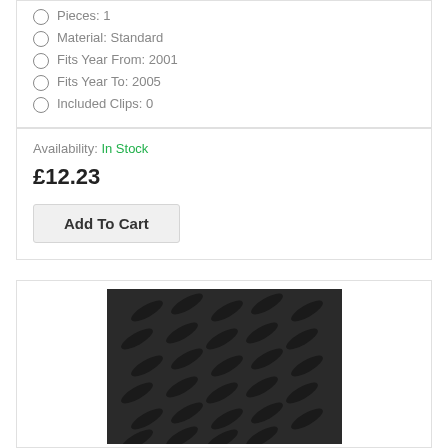Pieces: 1
Material: Standard
Fits Year From: 2001
Fits Year To: 2005
Included Clips: 0
Availability: In Stock
£12.23
Add To Cart
[Figure (photo): Close-up photo of black rubber car mat with diamond/oval raised pattern texture]